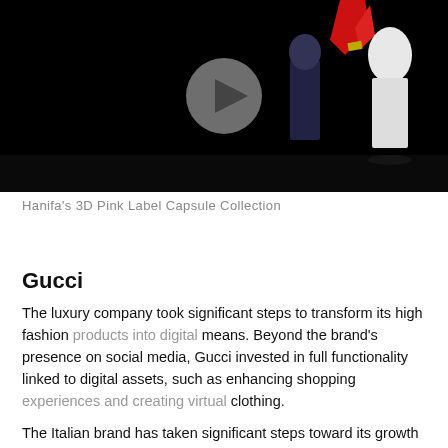[Figure (photo): A dark fashion runway video thumbnail showing models/mannequins wearing clothing against a black background, with a circular play button overlay in the center.]
Hanifa's 3D Pink Label Capsule Collection
Gucci
The luxury company took significant steps to transform its high fashion products into digital means. Beyond the brand's presence on social media, Gucci invested in full functionality linked to digital assets, such as enhancing shopping experiences and creating virtual clothing.

The Italian brand has taken significant steps toward its growth in the virtual market. For example, another step